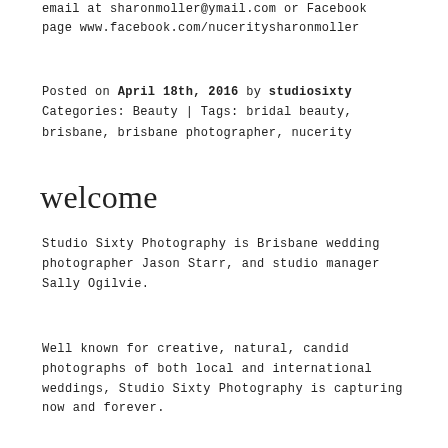email at sharonmoller@ymail.com or Facebook page www.facebook.com/nuceritysharonmoller
Posted on April 18th, 2016 by studiosixty Categories: Beauty | Tags: bridal beauty, brisbane, brisbane photographer, nucerity
welcome
Studio Sixty Photography is Brisbane wedding photographer Jason Starr, and studio manager Sally Ogilvie.
Well known for creative, natural, candid photographs of both local and international weddings, Studio Sixty Photography is capturing now and forever.